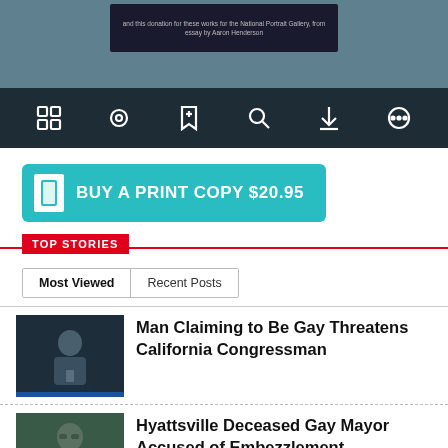[Figure (screenshot): Top blue-gray image bar with a dark book/magazine cover inset]
[Figure (screenshot): Dark toolbar with icons: grid, circle, bookmark, search, download, more]
[Figure (other): Teal 'BUY A PRINT COPY $20.95' button with book icon]
TOP STORIES
Most Viewed | Recent Posts
[Figure (photo): Person at podium, dark background]
Man Claiming to Be Gay Threatens California Congressman
[Figure (photo): Man in blue suit with glasses and boutonniere]
Hyattsville Deceased Gay Mayor Accused of Embezzlement
[Figure (photo): Colorful book covers partial view]
Virginia Judge Refuses to Label Queer Books